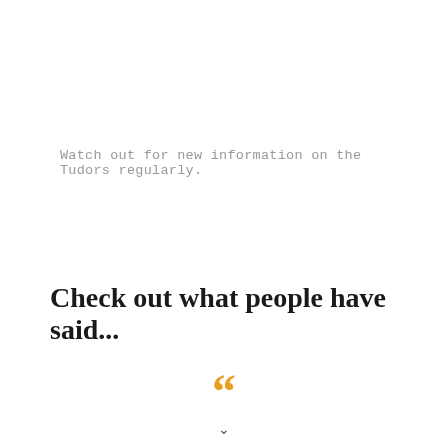Watch out for new information on the Tudors regularly.
Check out what people have said...
[Figure (illustration): Large orange opening double quotation marks decorative element]
v